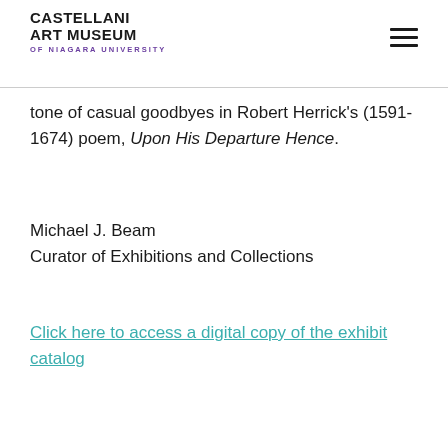Castellani Art Museum of Niagara University
tone of casual goodbyes in Robert Herrick's (1591- 1674) poem, Upon His Departure Hence.
Michael J. Beam
Curator of Exhibitions and Collections
Click here to access a digital copy of the exhibit catalog